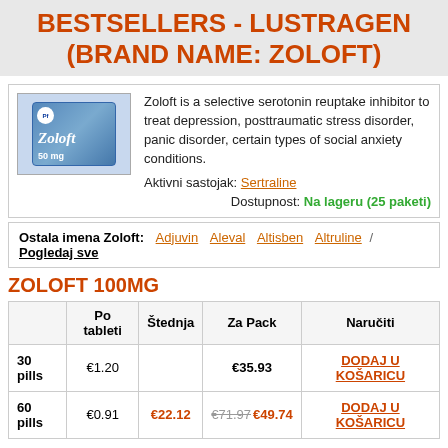BESTSELLERS - LUSTRAGEN (BRAND NAME: ZOLOFT)
Zoloft is a selective serotonin reuptake inhibitor to treat depression, posttraumatic stress disorder, panic disorder, certain types of social anxiety conditions.
Aktivni sastojak: Sertraline
Dostupnost: Na lageru (25 paketi)
[Figure (photo): Box of Zoloft 50mg by Pfizer]
Ostala imena Zoloft: Adjuvin Aleval Altisben Altruline / Pogledaj sve
ZOLOFT 100MG
|  | Po tableti | Štednja | Za Pack | Naručiti |
| --- | --- | --- | --- | --- |
| 30 pills | €1.20 |  | €35.93 | DODAJ U KOŠARICU |
| 60 pills | €0.91 | €22.12 | €71.97 €49.74 | DODAJ U KOŠARICU |